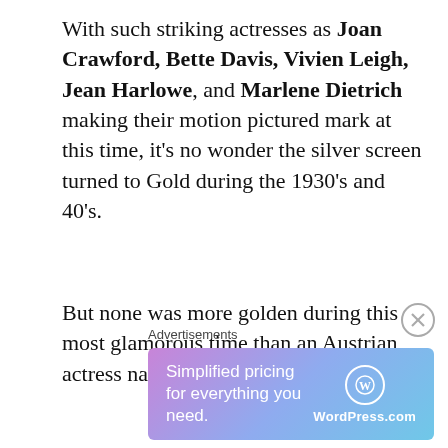With such striking actresses as Joan Crawford, Bette Davis, Vivien Leigh, Jean Harlowe, and Marlene Dietrich making their motion pictured mark at this time, it's no wonder the silver screen turned to Gold during the 1930's and 40's.
But none was more golden during this most glamorous time than an Austrian actress named Hedy Lamarr.
With her raven flowing hair, perpetually pouted lips, alabaster China Doll skin, and exceptionally large, electrically translucent
Advertisements
[Figure (other): Advertisement banner for WordPress.com with gradient background (purple to blue). Text reads 'Simplified pricing for everything you need.' with WordPress.com logo on right.]